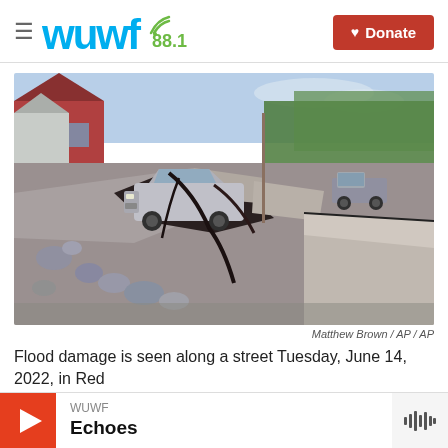WUWF 88.1 — Donate
[Figure (photo): Flood damage along a residential street showing severely cracked and buckled asphalt pavement with rocks and debris. A silver/gray car is teetering on the edge of the broken road. Red house visible on the left, trees in background, truck in distance on right.]
Matthew Brown / AP / AP
Flood damage is seen along a street Tuesday, June 14, 2022, in Red
WUWF Echoes